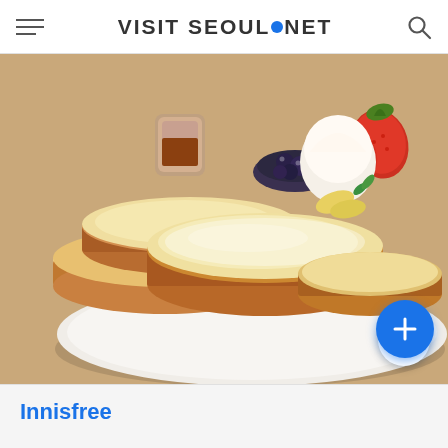VISIT SEOUL.NET
[Figure (photo): Fluffy soufflé pancakes stacked on a white plate, accompanied by blueberries, strawberries, fruit, and a small pitcher of syrup. The pancakes are golden-brown and dusted with powdered sugar.]
Innisfree